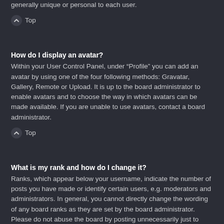generally unique or personal to each user.
Top
How do I display an avatar?
Within your User Control Panel, under “Profile” you can add an avatar by using one of the four following methods: Gravatar, Gallery, Remote or Upload. It is up to the board administrator to enable avatars and to choose the way in which avatars can be made available. If you are unable to use avatars, contact a board administrator.
Top
What is my rank and how do I change it?
Ranks, which appear below your username, indicate the number of posts you have made or identify certain users, e.g. moderators and administrators. In general, you cannot directly change the wording of any board ranks as they are set by the board administrator. Please do not abuse the board by posting unnecessarily just to increase your rank. Most boards will not tolerate this and the moderator or administrator will simply lower your post count.
Top
When I click the email link for a user it asks me to login?
Only registered users can send email to other users via the built-in email form, and only if the administrator has enabled this feature. This is to prevent